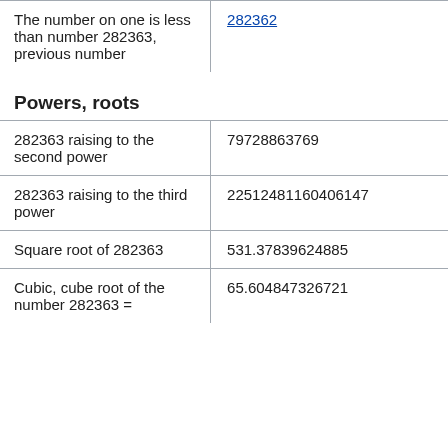| The number on one is less than number 282363, previous number | 282362 |
Powers, roots
| 282363 raising to the second power | 79728863769 |
| 282363 raising to the third power | 22512481160406147 |
| Square root of 282363 | 531.37839624885 |
| Cubic, cube root of the number 282363 = | 65.604847326721 |